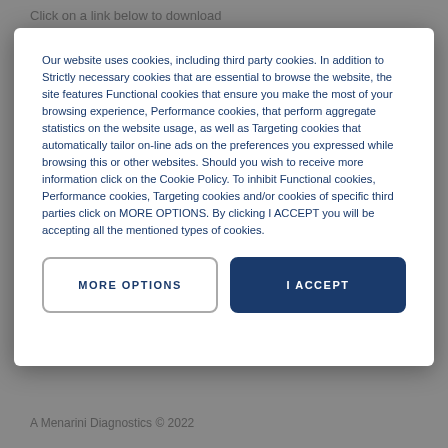Click on a link below to download
Our website uses cookies, including third party cookies. In addition to Strictly necessary cookies that are essential to browse the website, the site features Functional cookies that ensure you make the most of your browsing experience, Performance cookies, that perform aggregate statistics on the website usage, as well as Targeting cookies that automatically tailor on-line ads on the preferences you expressed while browsing this or other websites. Should you wish to receive more information click on the Cookie Policy. To inhibit Functional cookies, Performance cookies, Targeting cookies and/or cookies of specific third parties click on MORE OPTIONS. By clicking I ACCEPT you will be accepting all the mentioned types of cookies.
MORE OPTIONS
I ACCEPT
A Menarini Diagnostics © 2022